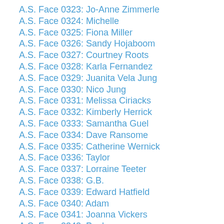A.S. Face 0323: Jo-Anne Zimmerle
A.S. Face 0324: Michelle
A.S. Face 0325: Fiona Miller
A.S. Face 0326: Sandy Hojaboom
A.S. Face 0327: Courtney Roots
A.S. Face 0328: Karla Fernandez
A.S. Face 0329: Juanita Vela Jung
A.S. Face 0330: Nico Jung
A.S. Face 0331: Melissa Ciriacks
A.S. Face 0332: Kimberly Herrick
A.S. Face 0333: Samantha Guel
A.S. Face 0334: Dave Ransome
A.S. Face 0335: Catherine Wernick
A.S. Face 0336: Taylor
A.S. Face 0337: Lorraine Teeter
A.S. Face 0338: G.B.
A.S. Face 0339: Edward Hatfield
A.S. Face 0340: Adam
A.S. Face 0341: Joanna Vickers
A.S. Face 0342: Paul